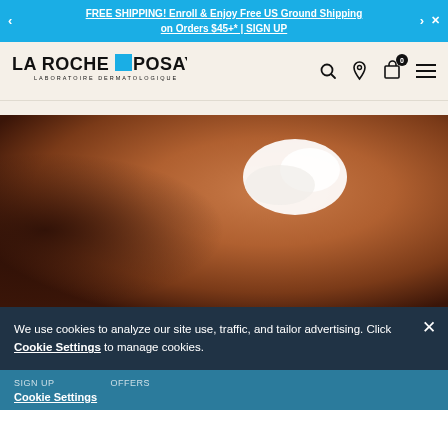FREE SHIPPING! Enroll & Enjoy Free US Ground Shipping on Orders $45+* | SIGN UP
[Figure (logo): La Roche-Posay Laboratoire Dermatologique logo with blue square accent]
[Figure (photo): Close-up of skin with a white cream dollop applied, warm brown tones]
We use cookies to analyze our site use, traffic, and tailor advertising. Click Cookie Settings to manage cookies.
SIGN UP   OFFERS   Cookie Settings